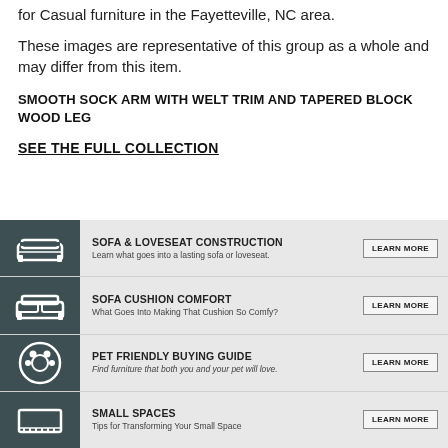for Casual furniture in the Fayetteville, NC area.
These images are representative of this group as a whole and may differ from this item.
SMOOTH SOCK ARM WITH WELT TRIM AND TAPERED BLOCK WOOD LEG
SEE THE FULL COLLECTION
SOFA & LOVESEAT CONSTRUCTION
Learn what goes into a lasting sofa or loveseat.
LEARN MORE
SOFA CUSHION COMFORT
What Goes Into Making That Cushion So Comfy?
LEARN MORE
PET FRIENDLY BUYING GUIDE
Find furniture that both you and your pet will love.
LEARN MORE
SMALL SPACES
Tips for Transforming Your Small Space
LEARN MORE